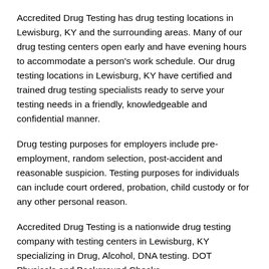Accredited Drug Testing has drug testing locations in Lewisburg, KY and the surrounding areas. Many of our drug testing centers open early and have evening hours to accommodate a person's work schedule. Our drug testing locations in Lewisburg, KY have certified and trained drug testing specialists ready to serve your testing needs in a friendly, knowledgeable and confidential manner.
Drug testing purposes for employers include pre-employment, random selection, post-accident and reasonable suspicion. Testing purposes for individuals can include court ordered, probation, child custody or for any other personal reason.
Accredited Drug Testing is a nationwide drug testing company with testing centers in Lewisburg, KY specializing in Drug, Alcohol, DNA testing. DOT Physicals and Background Checks.